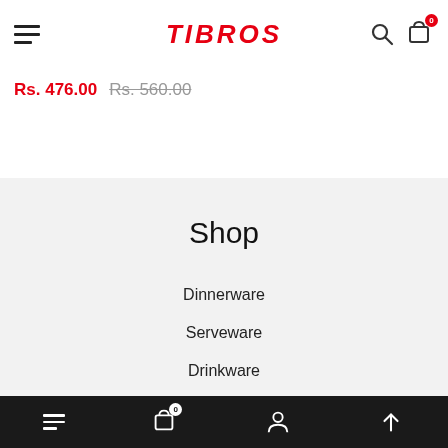[Figure (screenshot): TIBROS e-commerce website header with hamburger menu, logo, search icon, and cart icon with badge 0]
Rs. 476.00 Rs. 560.00
Shop
Dinnerware
Serveware
Drinkware
Cookware
Bottom navigation bar with menu, cart (0), account, and scroll-to-top icons